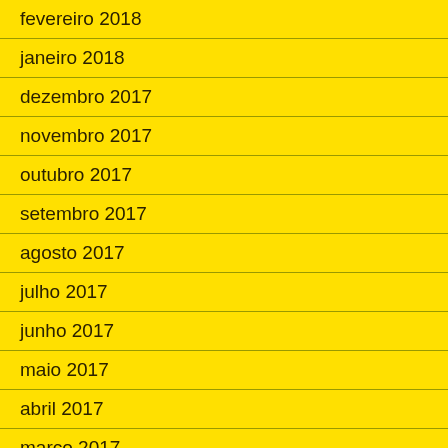fevereiro 2018
janeiro 2018
dezembro 2017
novembro 2017
outubro 2017
setembro 2017
agosto 2017
julho 2017
junho 2017
maio 2017
abril 2017
março 2017
fevereiro 2017